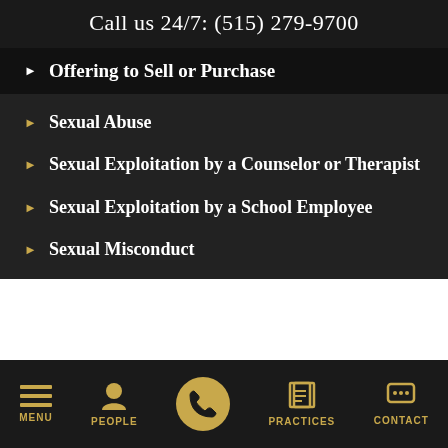Call us 24/7: (515) 279-9700
Offering to Sell or Purchase
Sexual Abuse
Sexual Exploitation by a Counselor or Therapist
Sexual Exploitation by a School Employee
Sexual Misconduct
MENU  PEOPLE  PRACTICES  CONTACT